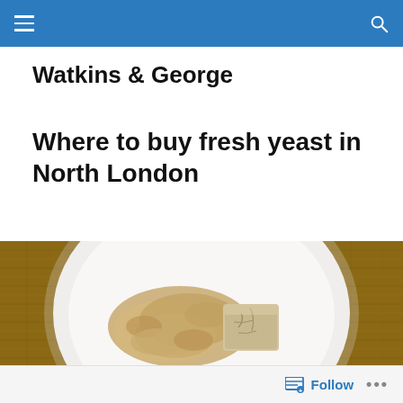Watkins & George (site navigation bar)
Watkins & George
Where to buy fresh yeast in North London
[Figure (photo): Overhead view of a white bowl on a wicker surface containing crumbled dried yeast and a block of fresh compressed yeast.]
Follow